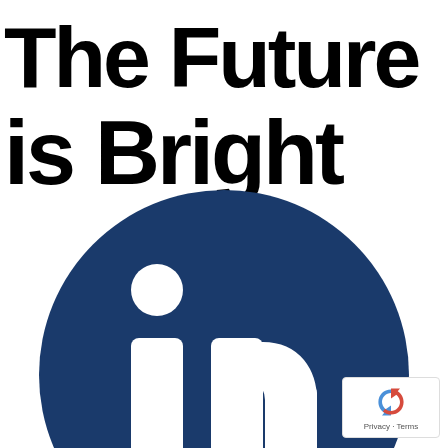is Bright
[Figure (logo): LinkedIn logo — dark blue circle with white 'in' lettering]
Privacy · Terms